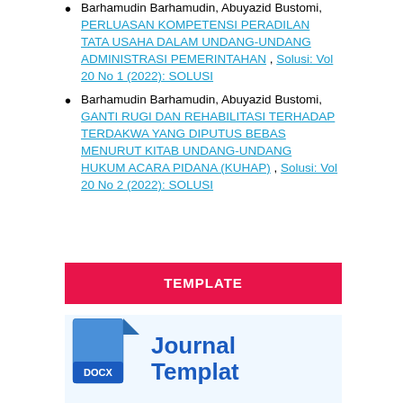Barhamudin Barhamudin, Abuyazid Bustomi, PERLUASAN KOMPETENSI PERADILAN TATA USAHA DALAM UNDANG-UNDANG ADMINISTRASI PEMERINTAHAN , Solusi: Vol 20 No 1 (2022): SOLUSI
Barhamudin Barhamudin, Abuyazid Bustomi, GANTI RUGI DAN REHABILITASI TERHADAP TERDAKWA YANG DIPUTUS BEBAS MENURUT KITAB UNDANG-UNDANG HUKUM ACARA PIDANA (KUHAP) , Solusi: Vol 20 No 2 (2022): SOLUSI
TEMPLATE
[Figure (illustration): DOCX file icon on the left and 'Journal Template' text in bold blue on the right]